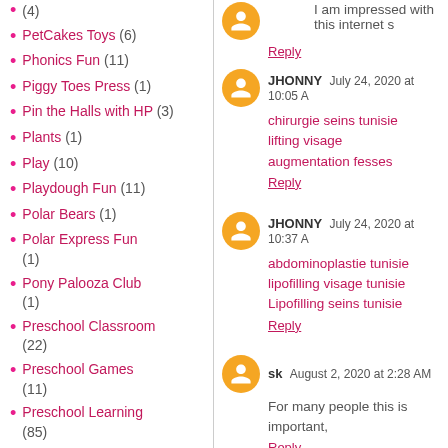(4)
PetCakes Toys (6)
Phonics Fun (11)
Piggy Toes Press (1)
Pin the Halls with HP (3)
Plants (1)
Play (10)
Playdough Fun (11)
Polar Bears (1)
Polar Express Fun (1)
Pony Palooza Club (1)
Preschool Classroom (22)
Preschool Games (11)
Preschool Learning (85)
Preschool Math (41)
preschool science fun (48)
Preschool Themes Calendar (3)
I am impressed with this internet s
Reply
JHONNY  July 24, 2020 at 10:05 A
chirurgie seins tunisie
lifting visage
augmentation fesses
Reply
JHONNY  July 24, 2020 at 10:37 A
abdominoplastie tunisie
lipofilling visage tunisie
Lipofilling seins tunisie
Reply
sk  August 2, 2020 at 2:28 AM
For many people this is important,
Reply